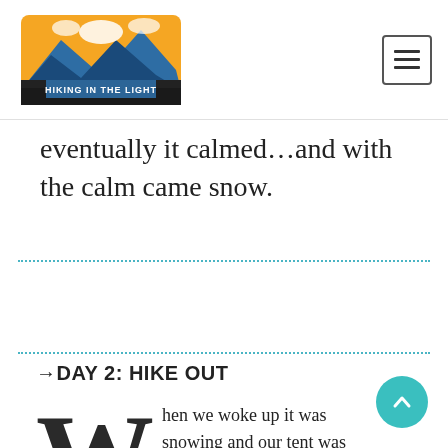HIKING IN THE LIGHT
eventually it calmed…and with the calm came snow.
→DAY 2: HIKE OUT
hen we woke up it was snowing and our tent was encased in ice. We beat at it